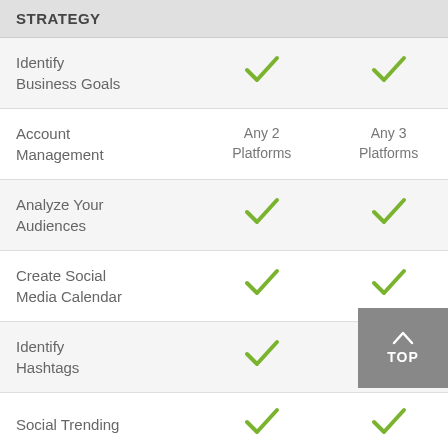| STRATEGY |  |  |
| --- | --- | --- |
| Identify Business Goals | ✓ | ✓ |
| Account Management | Any 2 Platforms | Any 3 Platforms |
| Analyze Your Audiences | ✓ | ✓ |
| Create Social Media Calendar | ✓ | ✓ |
| Identify Hashtags | ✓ | ✓ |
| Social Trending | ✓ | ✓ |